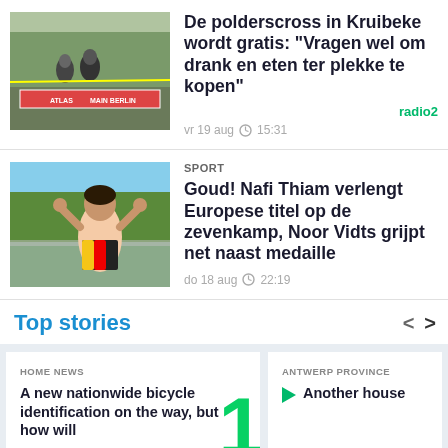[Figure (photo): Cyclists racing at the Polderscross event in Kruibeke, with sponsor banners visible]
De polderscross in Kruibeke wordt gratis: "Vragen wel om drank en eten ter plekke te kopen"
radio2
vr 19 aug  15:31
[Figure (photo): Nafi Thiam celebrating with raised fists after winning gold at the European heptathlon]
SPORT
Goud! Nafi Thiam verlengt Europese titel op de zevenkamp, Noor Vidts grijpt net naast medaille
do 18 aug  22:19
Top stories
HOME NEWS
A new nationwide bicycle identification on the way, but how will
ANTWERP PROVINCE
Another house